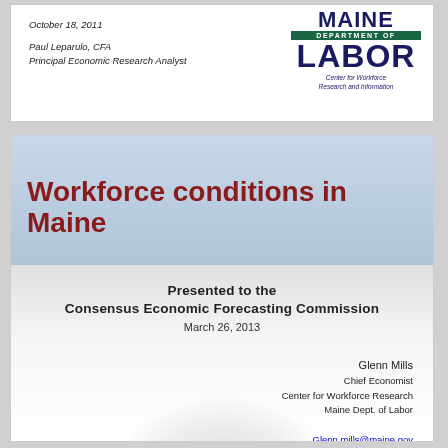October 18, 2011
Paul Leparulo, CFA
Principal Economic Research Analyst
[Figure (logo): Maine Department of Labor, Center for Workforce Research and Information logo]
Workforce conditions in Maine
Presented to the
Consensus Economic Forecasting Commission
March 26, 2013
Glenn Mills
Chief Economist
Center for Workforce Research
Maine Dept. of Labor
Glenn.mills@maine.gov
207-621-5192